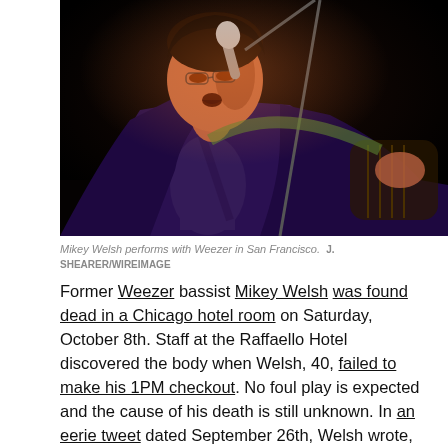[Figure (photo): A man singing into a microphone on stage, playing guitar, wearing a dark jacket over a white shirt, shot in a dark concert setting with warm stage lighting. This is Mikey Welsh performing with Weezer in San Francisco.]
Mikey Welsh performs with Weezer in San Francisco.  J. SHEARER/WIREIMAGE
Former Weezer bassist Mikey Welsh was found dead in a Chicago hotel room on Saturday, October 8th. Staff at the Raffaello Hotel discovered the body when Welsh, 40, failed to make his 1PM checkout. No foul play is expected and the cause of his death is still unknown. In an eerie tweet dated September 26th, Welsh wrote, “dreamt i died in chicago next weekend (heart